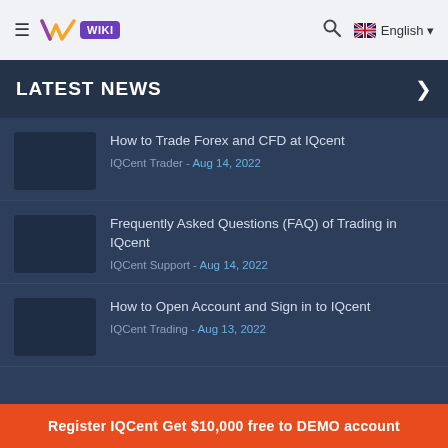Wiki English
LATEST NEWS
How to Trade Forex and CFD at IQcent
IQCent Trader - Aug 14, 2022
Frequently Asked Questions (FAQ) of Trading in IQcent
IQCent Support - Aug 14, 2022
How to Open Account and Sign in to IQcent
IQCent Trading - Aug 13, 2022
Register IQCent Get $10,000 free to DEMO account